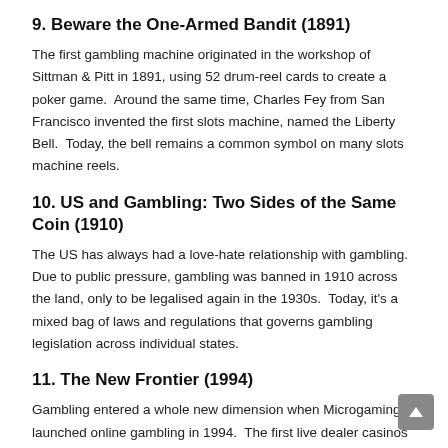9. Beware the One-Armed Bandit (1891)
The first gambling machine originated in the workshop of Sittman & Pitt in 1891, using 52 drum-reel cards to create a poker game.  Around the same time, Charles Fey from San Francisco invented the first slots machine, named the Liberty Bell.  Today, the bell remains a common symbol on many slots machine reels.
10. US and Gambling: Two Sides of the Same Coin (1910)
The US has always had a love-hate relationship with gambling.  Due to public pressure, gambling was banned in 1910 across the land, only to be legalised again in the 1930s.  Today, it's a mixed bag of laws and regulations that governs gambling legislation across individual states.
11. The New Frontier (1994)
Gambling entered a whole new dimension when Microgaming launched online gambling in 1994.  The first live dealer casinos opened their doors in 2003, connecting classic casinos and the virtual world.